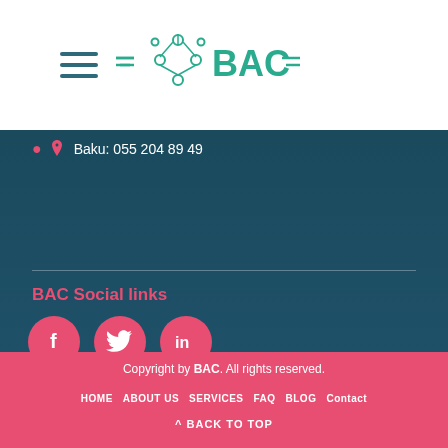[Figure (logo): BAC logo with teal/green network icon and stylized BAC text with decorative horizontal lines]
Baku: 055 204 89 49
BAC Social links
[Figure (illustration): Three pink circular social media icons: Facebook (f), Twitter (bird), LinkedIn (in)]
Copyright by BAC. All rights reserved.
HOME   ABOUT US   SERVICES   FAQ   BLOG   Contact
^ BACK TO TOP